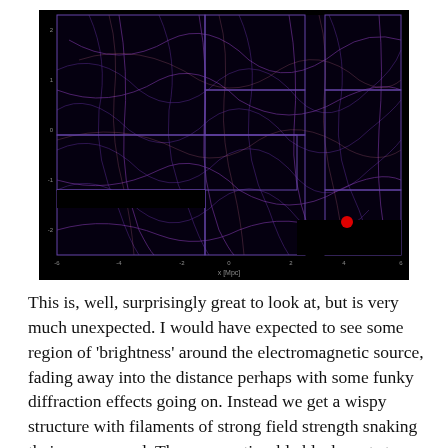[Figure (other): A scientific visualization on a black background showing a cosmic web or electromagnetic field simulation. Purple/blue filamentary structures snake across the image in a complex pattern. The image is divided into rectangular sub-panels with visible borders. A single bright red dot is visible in the lower-right quadrant. Axis labels are shown: x-axis labeled 'x [Mpc]' with tick values from approximately -6 to 6, y-axis with tick values from approximately -4 to 2.]
This is, well, surprisingly great to look at, but is very much unexpected. I would have expected to see some region of 'brightness' around the electromagnetic source, fading away into the distance perhaps with some funky diffraction effects going on. Instead we get a wispy structure with filaments of strong field strength snaking their way around. There are noticeable black spots too, recognisable